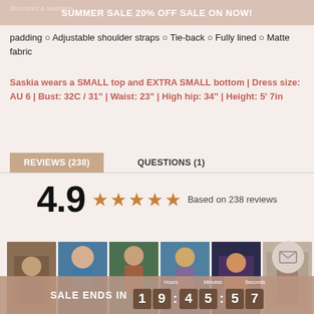SUMMER SALE 20% OFF SALE ON NOW!
padding ○ Adjustable shoulder straps ○ Tie-back ○ Fully lined ○ Matte fabric
Saskia wears a SMALL top and EXTRA SMALL bottom | Dress size: AU 6 | Bust: 32C / 31" | Waist: 23" | High hip: 34" | Height: 5' 7in
REVIEWS (238)
QUESTIONS (1)
4.9 ★★★★★ Based on 238 reviews
[Figure (photo): Strip of 6 user-submitted review photos of swimwear/clothing items]
SALE ENDS IN 19:45:57